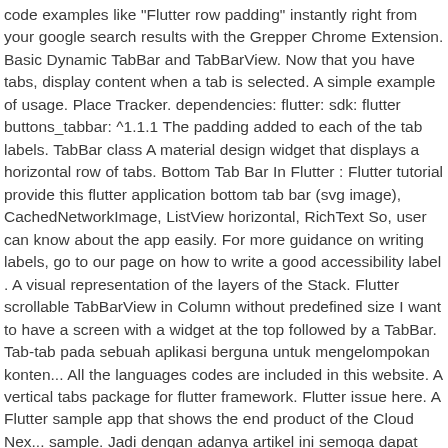code examples like "Flutter row padding" instantly right from your google search results with the Grepper Chrome Extension. Basic Dynamic TabBar and TabBarView. Now that you have tabs, display content when a tab is selected. A simple example of usage. Place Tracker. dependencies: flutter: sdk: flutter buttons_tabbar: ^1.1.1 The padding added to each of the tab labels. TabBar class A material design widget that displays a horizontal row of tabs. Bottom Tab Bar In Flutter : Flutter tutorial provide this flutter application bottom tab bar (svg image), CachedNetworkImage, ListView horizontal, RichText So, user can know about the app easily. For more guidance on writing labels, go to our page on how to write a good accessibility label . A visual representation of the layers of the Stack. Flutter scrollable TabBarView in Column without predefined size I want to have a screen with a widget at the top followed by a TabBar. Tab-tab pada sebuah aplikasi berguna untuk mengelompokan konten... All the languages codes are included in this website. A vertical tabs package for flutter framework. Flutter issue here. A Flutter sample app that shows the end product of the Cloud Nex... sample. Jadi dengan adanya artikel ini semoga dapat membantu kamu untuk lebih berkreasi lagi. Here is a course, suitable for someone who wants to relax and learn. Learn the best times to use that widget and